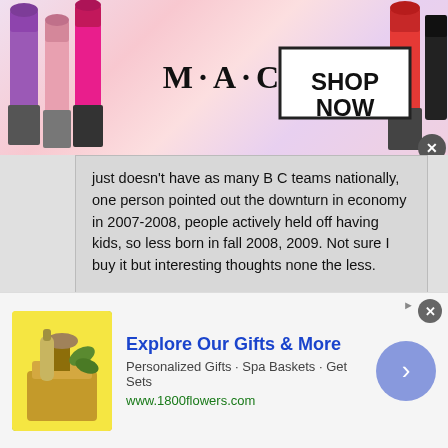[Figure (illustration): MAC cosmetics advertisement banner showing lipsticks on left, MAC logo in center, SHOP NOW box on right with close button]
just doesn't have as many B C teams nationally, one person pointed out the downturn in economy in 2007-2008, people actively held off having kids, so less born in fall 2008, 2009. Not sure I buy it but interesting thoughts none the less.

Quality seems as high as any year just not the total numbers
Where is this coming from?? Has someone done a census for the number of 2027 girls playing lax? I think we've already put to bed that there are probably way TOO many teams not the opposite
[Figure (illustration): 1800flowers.com advertisement with gift basket image, Explore Our Gifts & More text, and arrow button]